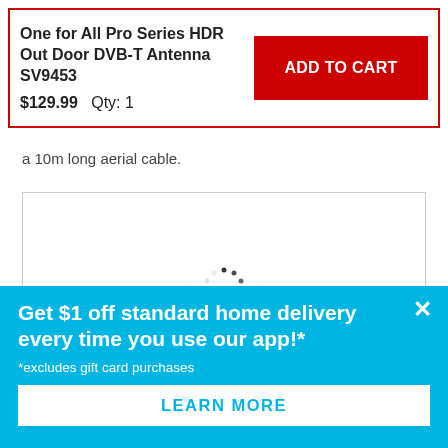One for All Pro Series HDR Out Door DVB-T Antenna SV9453
$129.99  Qty: 1
ADD TO CART
a 10m long aerial cable.
[Figure (other): Loading spinner / image placeholder within a bordered box]
Get $1 off standard home delivery every time you use our app!*
*excludes gift card purchases
LEARN MORE